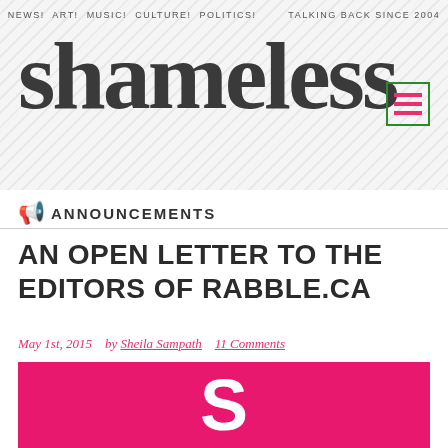NEWS!  ART!  MUSIC!  CULTURE!  POLITICS!    TALKING BACK SINCE 2004
shameless
📢 ANNOUNCEMENTS
AN OPEN LETTER TO THE EDITORS OF RABBLE.CA
May 1st, 2015   by Sheila Sampath   11 Comments
[Figure (logo): Hot pink background with white bold letter S — Shameless magazine logo]